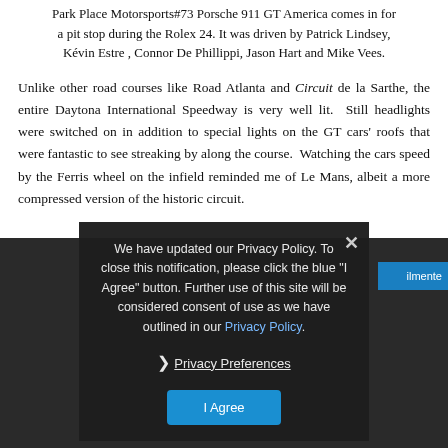Park Place Motorsports#73 Porsche 911 GT America comes in for a pit stop during the Rolex 24. It was driven by Patrick Lindsey, Kévin Estre , Connor De Phillippi, Jason Hart and Mike Vees.
Unlike other road courses like Road Atlanta and Circuit de la Sarthe, the entire Daytona International Speedway is very well lit. Still headlights were switched on in addition to special lights on the GT cars' roofs that were fantastic to see streaking by along the course. Watching the cars speed by the Ferris wheel on the infield reminded me of Le Mans, albeit a more compressed version of the historic circuit.
We have updated our Privacy Policy. To close this notification, please click the blue "I Agree" button. Further use of this site will be considered consent of use as we have outlined in our Privacy Policy.
› Privacy Preferences
I Agree